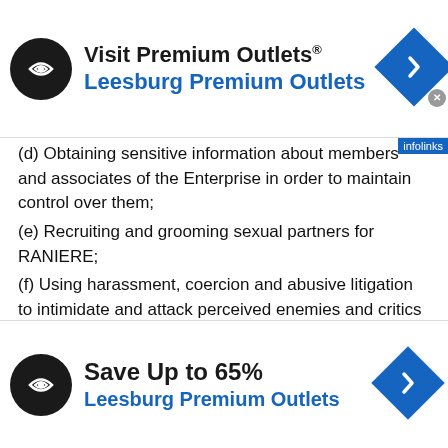[Figure (screenshot): Top advertisement banner for Visit Premium Outlets / Leesburg Premium Outlets with logo icon and navigation arrow icon]
(d) Obtaining sensitive information about members and associates of the Enterprise in order to maintain control over them;
(e) Recruiting and grooming sexual partners for RANIERE;
(f) Using harassment, coercion and abusive litigation to intimidate and attack perceived enemies and critics of RANIERE; and
(g) Encouraging associates and others to take expensive Nxivm courses, and incur debt to do so, means of exerting control over them and to
[Figure (screenshot): Bottom advertisement banner for Save Up to 65% / Leesburg Premium Outlets with logo icon and navigation arrow icon]